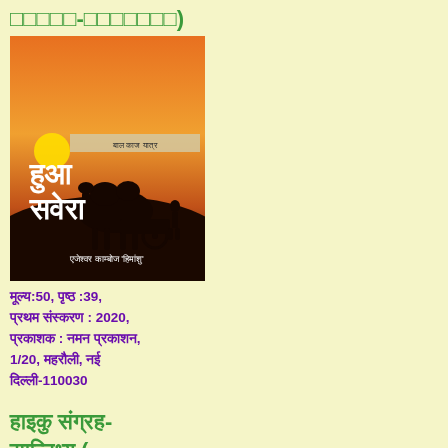□□□□□-□□□□□□□)
[Figure (photo): Book cover of 'हुआ सवेरा' - showing a camel silhouette against a sunset/orange sky, with Hindi text. Author: एजेश्वर काम्बोज 'हिमांशु']
मूल्य:50, पृष्ठ :39, प्रथम संस्करण : 2020, प्रकाशक : नमन प्रकाशन, 1/20, महरौली, नई दिल्ली-110030
हाइकु संग्रह- सान्निध्य ( अनुवाद )
[Figure (photo): Partial view of another book cover at the bottom of the page]